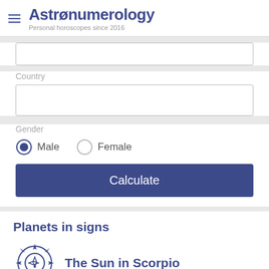Astronumerology — Personal horoscopes since 2016
Country
Gender
Male (selected), Female
Calculate
Planets in signs
[Figure (illustration): Sun icon — circular with star/diamond shapes, outline style in dark blue]
The Sun in Scorpio
Like the other water signs, this sign is very sensitive and emotional. With Scorpio, unlike the